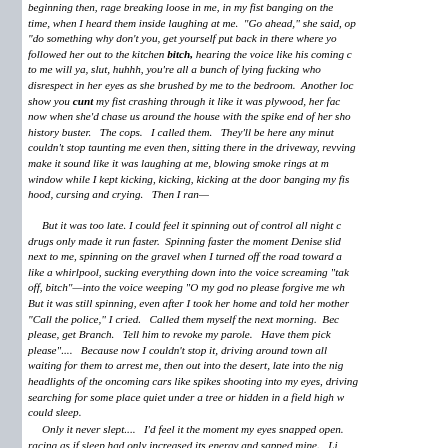beginning then, rage breaking loose in me, in my fist banging on the time, when I heard them inside laughing at me. "Go ahead," she said, op "do something why don't you, get yourself put back in there where yo followed her out to the kitchen bitch, hearing the voice like his coming c to me will ya, slut, huhhh, you're all a bunch of lying fucking who disrespect in her eyes as she brushed by me to the bedroom. Another loc show you cunt my fist crashing through it like it was plywood, her fac now when she'd chase us around the house with the spike end of her sho history buster. The cops. I called them. They'll be here any minut couldn't stop taunting me even then, sitting there in the driveway, revving make it sound like it was laughing at me, blowing smoke rings at m window while I kept kicking, kicking, kicking at the door banging my fis hood, cursing and crying. Then I ran—
But it was too late. I could feel it spinning out of control all night c drugs only made it run faster. Spinning faster the moment Denise slid next to me, spinning on the gravel when I turned off the road toward a like a whirlpool, sucking everything down into the voice screaming "tak off, bitch"—into the voice weeping "O my god no please forgive me wh But it was still spinning, even after I took her home and told her mother "Call the police," I cried. Called them myself the next morning. Bec please, get Branch. Tell him to revoke my parole. Have them pick please".... Because now I couldn't stop it, driving around town all waiting for them to arrest me, then out into the desert, late into the nig headlights of the oncoming cars like spikes shooting into my eyes, driving searching for some place quiet under a tree or hidden in a field high w could sleep.
Only it never slept.... I'd feel it the moment my eyes snapped open. racing as if sleep had only increased its energy and sapped mine. Li spinning on the gravel, going round and round faster and faster sinkin